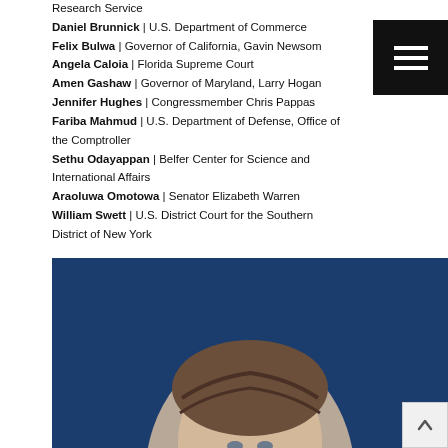Research Service
Daniel Brunnick | U.S. Department of Commerce
Felix Bulwa | Governor of California, Gavin Newsom
Angela Caloia | Florida Supreme Court
Amen Gashaw | Governor of Maryland, Larry Hogan
Jennifer Hughes | Congressmember Chris Pappas
Fariba Mahmud | U.S. Department of Defense, Office of the Comptroller
Sethu Odayappan | Belfer Center for Science and International Affairs
Araoluwa Omotowa | Senator Elizabeth Warren
William Swett | U.S. District Court for the Southern District of New York
[Figure (photo): Person with braided hair on a dark blue background, shown in an oval portrait crop]